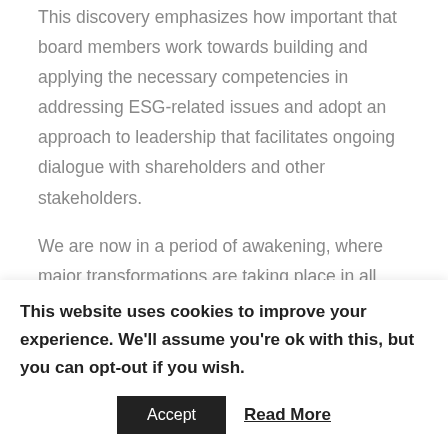This discovery emphasizes how important that board members work towards building and applying the necessary competencies in addressing ESG-related issues and adopt an approach to leadership that facilitates ongoing dialogue with shareholders and other stakeholders.
We are now in a period of awakening, where major transformations are taking place in all corners of the globe, altering the traditional context for boardroom decision making and heightening the expectations of corporate leaders and board of directors. We believe
This website uses cookies to improve your experience. We'll assume you're ok with this, but you can opt-out if you wish.